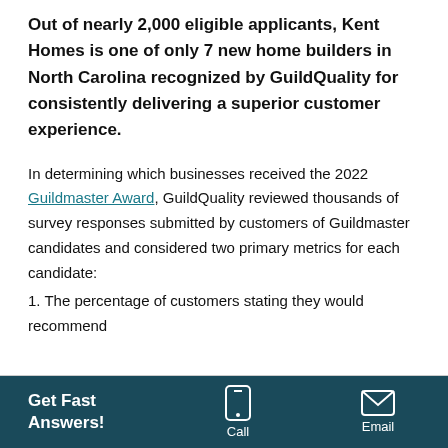Out of nearly 2,000 eligible applicants, Kent Homes is one of only 7 new home builders in North Carolina recognized by GuildQuality for consistently delivering a superior customer experience.
In determining which businesses received the 2022 Guildmaster Award, GuildQuality reviewed thousands of survey responses submitted by customers of Guildmaster candidates and considered two primary metrics for each candidate:
1. The percentage of customers stating they would recommend
Get Fast Answers! | Call | Email